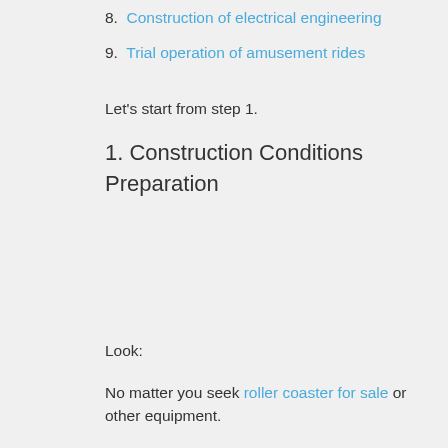8. Construction of electrical engineering
9. Trial operation of amusement rides
Let's start from step 1.
1. Construction Conditions Preparation
Look:
No matter you seek roller coaster for sale or other equipment.
This is the very first step in the installation of amusement park rides.